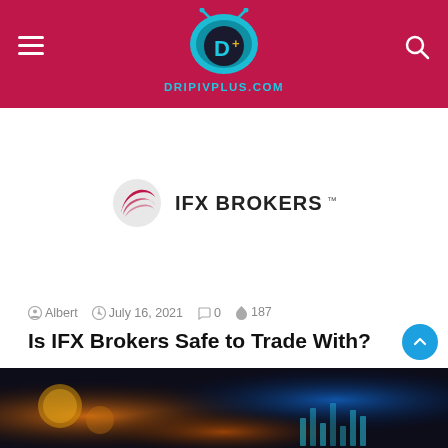DRIPIVPLUS.COM
[Figure (logo): IFX Brokers logo with red swoosh icon and bold text 'IFX BROKERS']
Albert  July 16, 2021  0  187
Is IFX Brokers Safe to Trade With?
As the popularity of Forex is growing, more and more scams are being reported. Since it is online trading, frauds…
[Figure (photo): Blurred cryptocurrency trading background image with orange and blue bokeh lights and chart indicators]